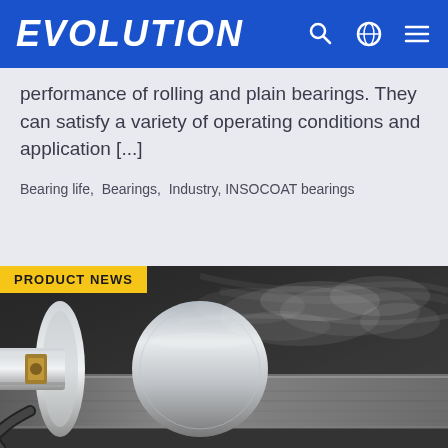EVOLUTION
performance of rolling and plain bearings. They can satisfy a variety of operating conditions and application [...]
Bearing life,  Bearings,  Industry, INSOCOAT bearings
[Figure (photo): Industrial machinery photo showing a cylindrical metal roller/bearing component with mist or steam spray, dark industrial background. Labeled PRODUCT NEWS.]